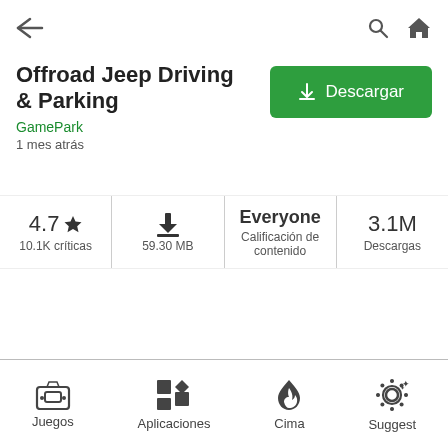[Figure (screenshot): Top navigation bar with back arrow on left and search/home icons on right]
Offroad Jeep Driving & Parking
GamePark
1 mes atrás
[Figure (other): Green Descargar (Download) button]
4.7 ★ 10.1K críticas
59.30 MB
Everyone Calificación de contenido
3.1M Descargas
Juegos  Aplicaciones  Cima  Suggest